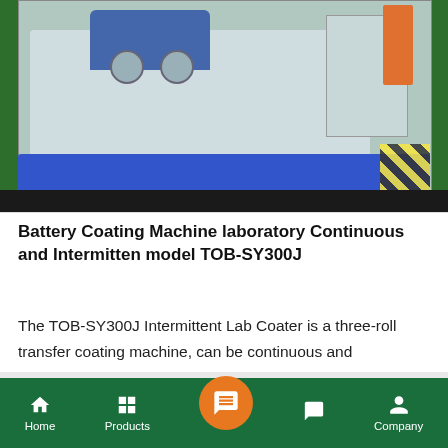[Figure (photo): Photo of Battery Coating Machine TOB-SY300J, a three-roll transfer coating machine on a blue base with orange cable, on a green floor background.]
Battery Coating Machine laboratory Continuous and Intermitten model TOB-SY300J
The TOB-SY300J Intermittent Lab Coater is a three-roll transfer coating machine, can be continuous and intermittent coating, suitable for a variety of substrate surface coating process.
Home | Products | [chat icon] | [message icon] | Company